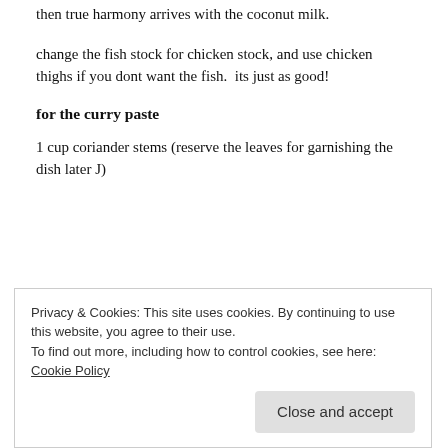then true harmony arrives with the coconut milk.
change the fish stock for chicken stock, and use chicken thighs if you dont want the fish.  its just as good!
for the curry paste
1 cup coriander stems (reserve the leaves for garnishing the dish later J)
[Figure (photo): A red-cased smartphone viewed from above, partially visible at the top of the image, set against a red background.]
Privacy & Cookies: This site uses cookies. By continuing to use this website, you agree to their use.
To find out more, including how to control cookies, see here: Cookie Policy
Close and accept